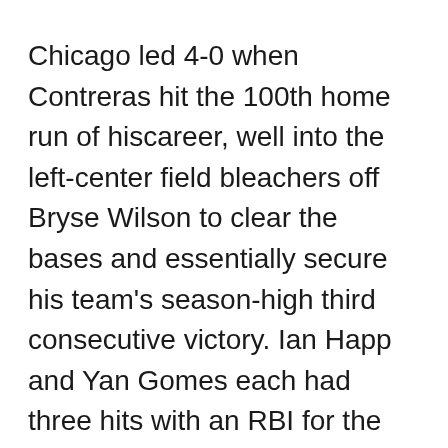Chicago led 4-0 when Contreras hit the 100th home run of hiscareer, well into the left-center field bleachers off Bryse Wilson to clear the bases and essentially secure his team's season-high third consecutive victory. Ian Happ and Yan Gomes each had three hits with an RBI for the Cubs.
A day after being no-hit but still winning 1-0 over Cincinnati, the Pirates' offensive struggles continued while recording just three hits. Yoshi Tsutsugo and Rodolfo Castro each singled in the eighth for Pittsburgh, which has totaled six runs and been shut out twice while losing